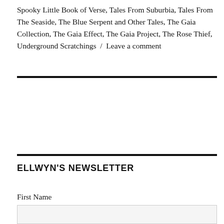Spooky Little Book of Verse, Tales From Suburbia, Tales From The Seaside, The Blue Serpent and Other Tales, The Gaia Collection, The Gaia Effect, The Gaia Project, The Rose Thief, Underground Scratchings / Leave a comment
ELLWYN'S NEWSLETTER
First Name